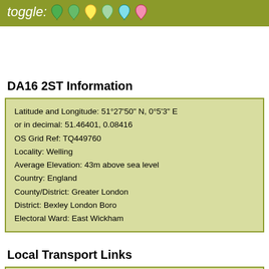toggle: (map pin icons)
DA16 2ST Information
Latitude and Longitude: 51°27'50" N, 0°5'3" E
or in decimal: 51.46401, 0.08416
OS Grid Ref: TQ449760
Locality: Welling
Average Elevation: 43m above sea level
Country: England
County/District: Greater London
District: Bexley London Boro
Electoral Ward: East Wickham
Local Transport Links
Falconwood Railway Stations - within a mile
Welling Railway Station - within a mile